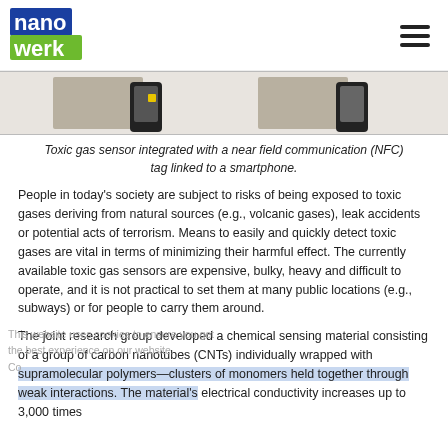nanowerk [logo] [hamburger menu]
[Figure (photo): Partial view of toxic gas sensor integrated with NFC tag and smartphone devices]
Toxic gas sensor integrated with a near field communication (NFC) tag linked to a smartphone.
People in today's society are subject to risks of being exposed to toxic gases deriving from natural sources (e.g., volcanic gases), leak accidents or potential acts of terrorism. Means to easily and quickly detect toxic gases are vital in terms of minimizing their harmful effect. The currently available toxic gas sensors are expensive, bulky, heavy and difficult to operate, and it is not practical to set them at many public locations (e.g., subways) or for people to carry them around.
The joint research group developed a chemical sensing material consisting of a group of carbon nanotubes (CNTs) individually wrapped with supramolecular polymers—clusters of monomers held together through weak interactions. The material's electrical conductivity increases up to 3,000 times